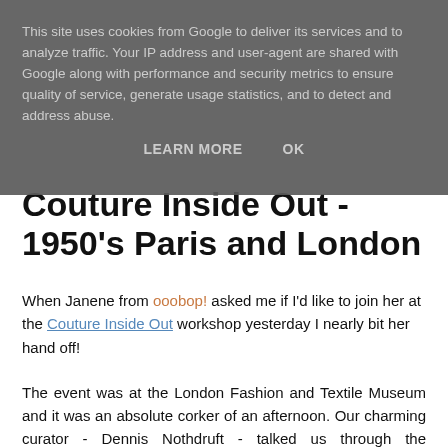This site uses cookies from Google to deliver its services and to analyze traffic. Your IP address and user-agent are shared with Google along with performance and security metrics to ensure quality of service, generate usage statistics, and to detect and address abuse.
LEARN MORE   OK
Couture Inside Out - 1950's Paris and London
When Janene from ooobop! asked me if I'd like to join her at the Couture Inside Out workshop yesterday I nearly bit her hand off!
The event was at the London Fashion and Textile Museum and it was an absolute corker of an afternoon. Our charming curator - Dennis Nothdruft - talked us through the construction and history of couture pieces by Dior, Chanel and Balenciaga (amongst others). Not only did we get to see these beautiful, beautiful frocks up close, we were also allowed to touch them! Yes, we did have to wear cotton